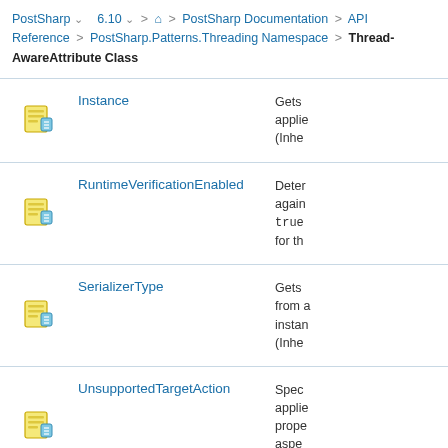PostSharp 6.10 > Home > PostSharp Documentation > API Reference > PostSharp.Patterns.Threading Namespace > Thread-AwareAttribute Class
|  | Name | Description |
| --- | --- | --- |
| [icon] | Instance | Gets applie (Inhe |
| [icon] | RuntimeVerificationEnabled | Deter again true for th |
| [icon] | SerializerType | Gets from A instan (Inhe |
| [icon] | UnsupportedTargetAction | Spec applie prope aspe (Inhe |